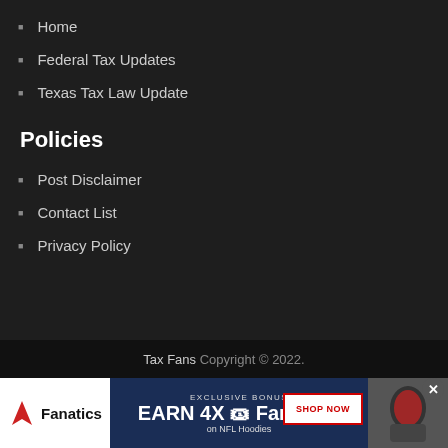Home
Federal Tax Updates
Texas Tax Law Update
Policies
Post Disclaimer
Contact List
Privacy Policy
Tax Fans Copyright © 2022.
[Figure (illustration): Fanatics advertisement banner: Exclusive Bonus EARN 4X FanCash on NFL Hoodies with SHOP NOW button and hoodie image]